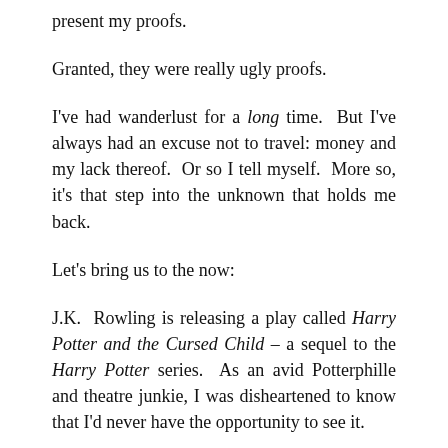present my proofs.
Granted, they were really ugly proofs.
I've had wanderlust for a long time.  But I've always had an excuse not to travel: money and my lack thereof.  Or so I tell myself.  More so, it's that step into the unknown that holds me back.
Let's bring us to the now:
J.K. Rowling is releasing a play called Harry Potter and the Cursed Child – a sequel to the Harry Potter series.  As an avid Potterphille and theatre junkie, I was disheartened to know that I'd never have the opportunity to see it.
Regardless, out of kicks and giggles, I signed up to receive emails about Priority Tickets.